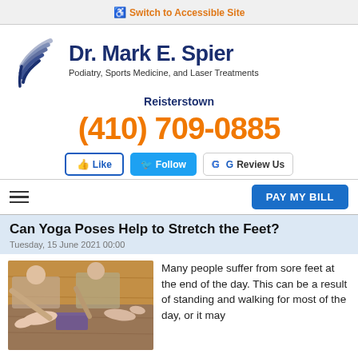Switch to Accessible Site
[Figure (logo): Dr. Mark E. Spier podiatry logo with wing/feather graphic. Text: Dr. Mark E. Spier, Podiatry, Sports Medicine, and Laser Treatments]
Reisterstown
(410) 709-0885
Like  Follow  Review Us
PAY MY BILL
Can Yoga Poses Help to Stretch the Feet?
Tuesday, 15 June 2021 00:00
[Figure (photo): People doing yoga poses, stretching their feet on yoga mats with a yoga block visible]
Many people suffer from sore feet at the end of the day. This can be a result of standing and walking for most of the day, or it may